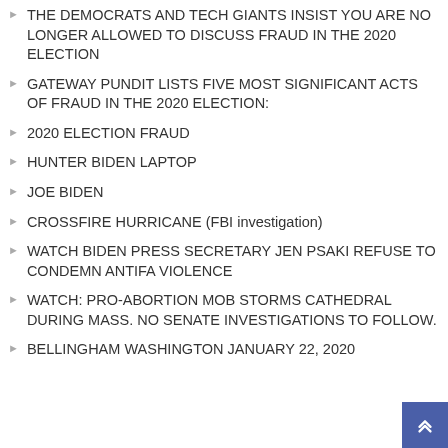THE DEMOCRATS AND TECH GIANTS INSIST YOU ARE NO LONGER ALLOWED TO DISCUSS FRAUD IN THE 2020 ELECTION
GATEWAY PUNDIT LISTS FIVE MOST SIGNIFICANT ACTS OF FRAUD IN THE 2020 ELECTION:
2020 ELECTION FRAUD
HUNTER BIDEN LAPTOP
JOE BIDEN
CROSSFIRE HURRICANE (FBI investigation)
WATCH BIDEN PRESS SECRETARY JEN PSAKI REFUSE TO CONDEMN ANTIFA VIOLENCE
WATCH: PRO-ABORTION MOB STORMS CATHEDRAL DURING MASS. NO SENATE INVESTIGATIONS TO FOLLOW.
BELLINGHAM WASHINGTON JANUARY 22, 2020